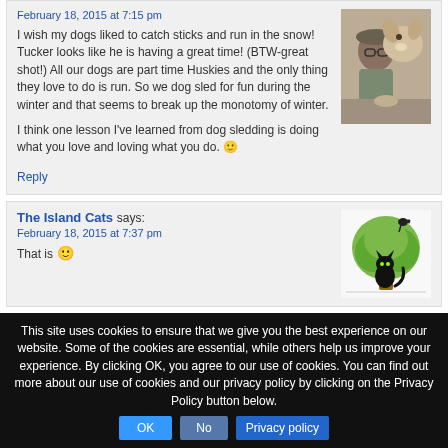February 18, 2015 at 7:15 pm
I wish my dogs liked to catch sticks and run in the snow! Tucker looks like he is having a great time! (BTW-great shot!) All our dogs are part time Huskies and the only thing they love to do is run. So we dog sled for fun during the winter and that seems to break up the monotomy of winter.

I think one lesson I've learned from dog sledding is doing what you love and loving what you do. 🙂
[Figure (photo): Photo of an older man with glasses nuzzling a large husky dog]
Reply
The Island Cats says:
February 18, 2015 at 7:37 pm
[Figure (illustration): Illustration of a green tree with a black cat and bird silhouettes]
That is...
This site uses cookies to ensure that we give you the best experience on our website. Some of the cookies are essential, while others help us improve your experience. By clicking OK, you agree to our use of cookies. You can find out more about our use of cookies and our privacy policy by clicking on the Privacy Policy button below.